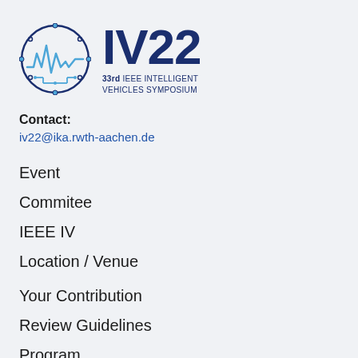[Figure (logo): IV22 33rd IEEE Intelligent Vehicles Symposium logo with circular icon and bold IV22 text]
Contact:
iv22@ika.rwth-aachen.de
Event
Commitee
IEEE IV
Location / Venue
Your Contribution
Review Guidelines
Program